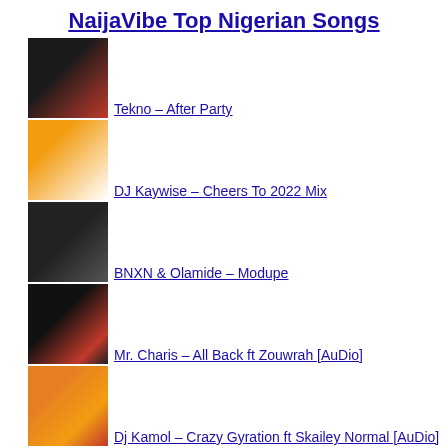NaijaVibe Top Nigerian Songs
Tekno – After Party
DJ Kaywise – Cheers To 2022 Mix
BNXN & Olamide – Modupe
Mr. Charis – All Back ft Zouwrah [AuDio]
Dj Kamol – Crazy Gyration ft Skailey Normal [AuDio]
Joeboy – Contour
DJ Tunez – Majo ft Wizkid, Alpha P & Tay Iwar
(partial item at bottom)